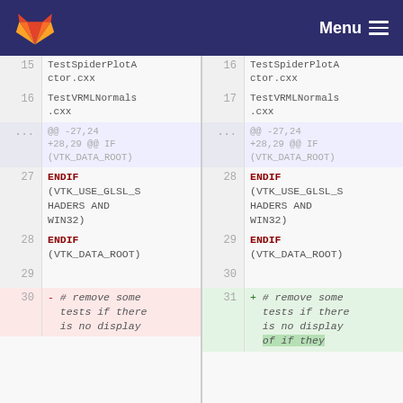GitLab – Menu
[Figure (screenshot): Side-by-side diff view of a CMake file showing lines 15-31. Left panel shows old version (lines 15-30), right panel shows new version (lines 16-31). Lines include TestSpiderPlotActor.cxx, TestVRMLNormals.cxx, hunk header @@ -27,24 +28,29 @@ IF (VTK_DATA_ROOT), ENDIF (VTK_USE_GLSL_SHADERS AND WIN32), ENDIF (VTK_DATA_ROOT), and a removed/added comment line: # remove some tests if there is no display]